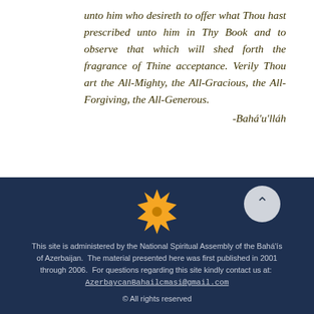unto him who desireth to offer what Thou hast prescribed unto him in Thy Book and to observe that which will shed forth the fragrance of Thine acceptance. Verily Thou art the All-Mighty, the All-Gracious, the All-Forgiving, the All-Generous.
-Bahá'u'lláh
[Figure (logo): Nine-pointed sun/star logo in gold/yellow on dark navy background, representing the Bahá'í faith symbol]
This site is administered by the National Spiritual Assembly of the Bahá'ís of Azerbaijan.  The material presented here was first published in 2001 through 2006.  For questions regarding this site kindly contact us at:  AzerbaycanBahailcmasi@gmail.com
© All rights reserved